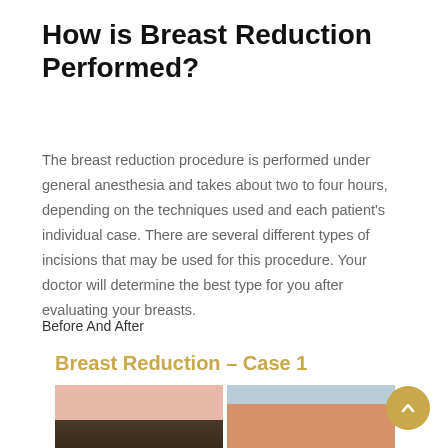How is Breast Reduction Performed?
The breast reduction procedure is performed under general anesthesia and takes about two to four hours, depending on the techniques used and each patient’s individual case. There are several different types of incisions that may be used for this procedure. Your doctor will determine the best type for you after evaluating your breasts.
Before And After
Breast Reduction – Case 1
[Figure (photo): Before and after photos of breast reduction case 1, showing two side-by-side patient images cropped at the chest area.]